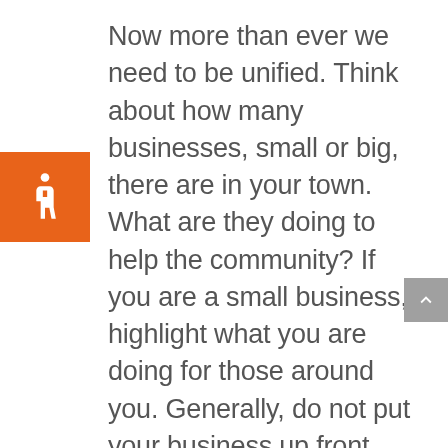Now more than ever we need to be unified. Think about how many businesses, small or big, there are in your town. What are they doing to help the community? If you are a small business, highlight what you are doing for those around you. Generally, do not put your business up front, but demonstrate what you are doing. Are you giving out masks? Doing something like buying lunch for nurses gets the community behind you, and that's more than half the battle. You can influence others to start helping the local community as well and create an influx of support. Communities support you, and now it's time you support your community.
[Figure (illustration): Orange square with white wheelchair accessibility icon]
[Figure (illustration): Grey square with white upward chevron/arrow scroll-to-top button]